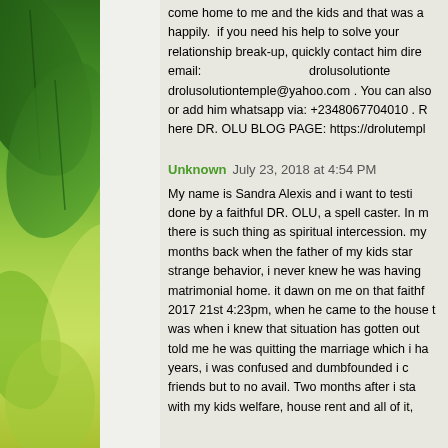come home to me and the kids and that was all happily. if you need his help to solve your relationship break-up, quickly contact him directly email: drolusolutionte... drolusolutiontemple@yahoo.com . You can also or add him whatsapp via: +2348067704010 . R here DR. OLU BLOG PAGE: https://drolutempl...
Unknown July 23, 2018 at 4:54 PM
My name is Sandra Alexis and i want to testi done by a faithful DR. OLU, a spell caster. In m there is such thing as spiritual intercession. my months back when the father of my kids star strange behavior, i never knew he was having matrimonial home. it dawn on me on that faithf 2017 21st 4:23pm, when he came to the house t was when i knew that situation has gotten out told me he was quitting the marriage which i ha years, i was confused and dumbfounded i c friends but to no avail. Two months after i sta with my kids welfare, house rent and all of it,